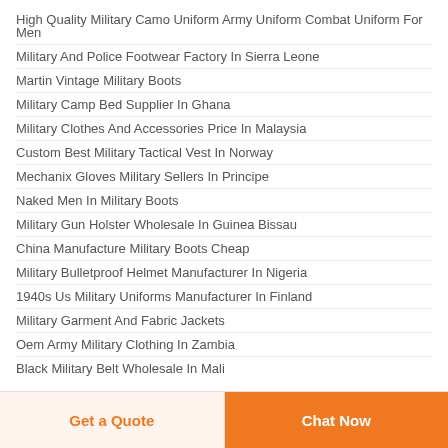High Quality Military Camo Uniform Army Uniform Combat Uniform For Men
Military And Police Footwear Factory In Sierra Leone
Martin Vintage Military Boots
Military Camp Bed Supplier In Ghana
Military Clothes And Accessories Price In Malaysia
Custom Best Military Tactical Vest In Norway
Mechanix Gloves Military Sellers In Principe
Naked Men In Military Boots
Military Gun Holster Wholesale In Guinea Bissau
China Manufacture Military Boots Cheap
Military Bulletproof Helmet Manufacturer In Nigeria
1940s Us Military Uniforms Manufacturer In Finland
Military Garment And Fabric Jackets
Oem Army Military Clothing In Zambia
Black Military Belt Wholesale In Mali
Get a Quote
Chat Now